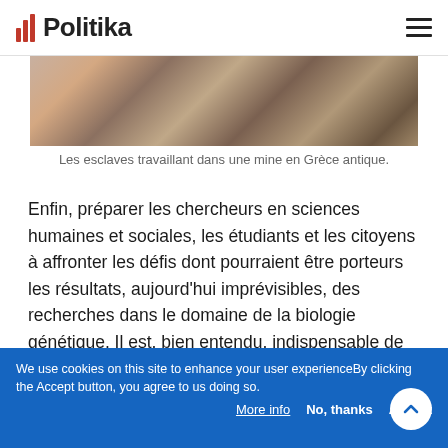Politika
[Figure (photo): Photograph of slaves working in a mine in ancient Greece — decorative historical image with terracotta/earth tones]
Les esclaves travaillant dans une mine en Grèce antique.
Enfin, préparer les chercheurs en sciences humaines et sociales, les étudiants et les citoyens à affronter les défis dont pourraient être porteurs les résultats, aujourd'hui imprévisibles, des recherches dans le domaine de la biologie génétique. Il est, bien entendu, indispensable de continuer à dénoncer l'agenda idéologique et politique raciste de la sociobiologie 14 . Mais on ne peut laisser croire que les sciences humaines et sociales pourront continuer de développer leurs propres compétences sans
We use cookies on this site to enhance your user experienceBy clicking the Accept button, you agree to us doing so.